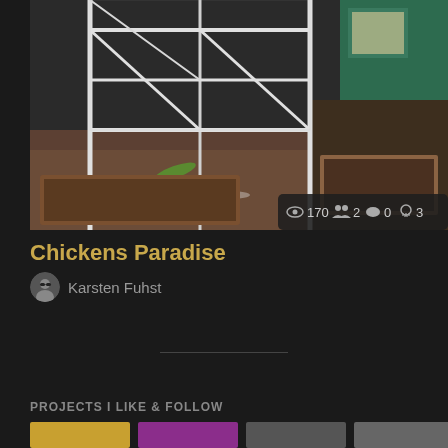[Figure (photo): Chicken coop structure with white metal wire frame enclosure, green wooden shed door visible in the upper right corner, raised garden bed with soil visible to the right, interior floor covered with hay/straw material, a green leaf/vegetable on the ground]
170  2  0  3
Chickens Paradise
Karsten Fuhst
PROJECTS I LIKE & FOLLOW
[Figure (photo): Row of small project thumbnail images at bottom of page, partially visible]